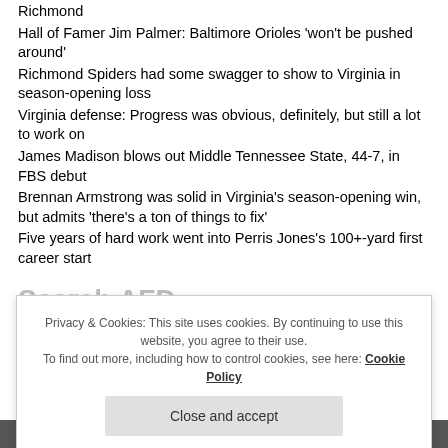Richmond
Hall of Famer Jim Palmer: Baltimore Orioles 'won't be pushed around'
Richmond Spiders had some swagger to show to Virginia in season-opening loss
Virginia defense: Progress was obvious, definitely, but still a lot to work on
James Madison blows out Middle Tennessee State, 44-7, in FBS debut
Brennan Armstrong was solid in Virginia's season-opening win, but admits 'there's a ton of things to fix'
Five years of hard work went into Perris Jones's 100+-yard first career start
Search AFD
Privacy & Cookies: This site uses cookies. By continuing to use this website, you agree to their use. To find out more, including how to control cookies, see here: Cookie Policy
Close and accept